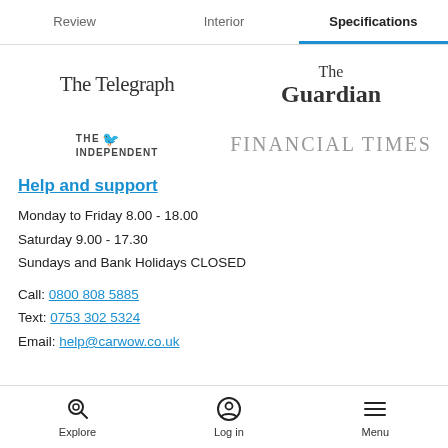Review | Interior | Specifications
[Figure (logo): The Telegraph newspaper logo]
[Figure (logo): The Guardian newspaper logo]
[Figure (logo): The Independent newspaper logo]
[Figure (logo): Financial Times newspaper logo]
Help and support
Monday to Friday 8.00 - 18.00
Saturday 9.00 - 17.30
Sundays and Bank Holidays CLOSED
Call: 0800 808 5885
Text: 0753 302 5324
Email: help@carwow.co.uk
Explore | Log in | Menu